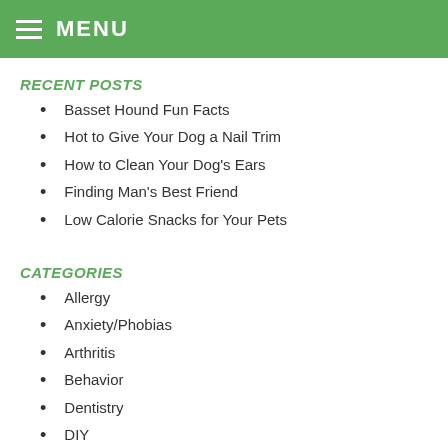MENU
RECENT POSTS
Basset Hound Fun Facts
Hot to Give Your Dog a Nail Trim
How to Clean Your Dog's Ears
Finding Man's Best Friend
Low Calorie Snacks for Your Pets
CATEGORIES
Allergy
Anxiety/Phobias
Arthritis
Behavior
Dentistry
DIY
Dr Burgess's Blog
Ears
Eyes
Heart/Lungs
How To's
Kitten
Labwork / Diagnostics